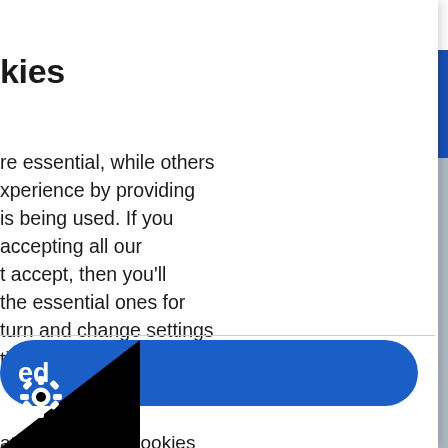tors   Employers   About   F
kies
re essential, while others xperience by providing is being used. If you accepting all our t accept, then you'll the essential ones for turn and change settings tings icon bottom left.
ation about the cookies
page
ed
2015 Changes - tation date